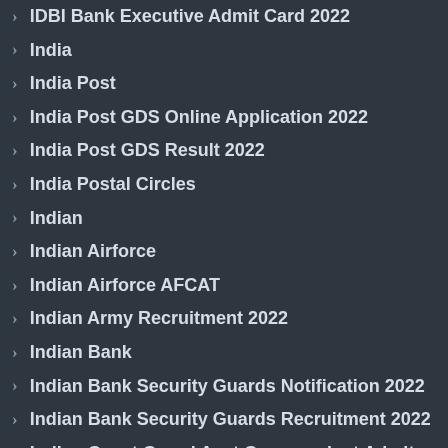IDBI Bank Executive Admit Card 2022
India
India Post
India Post GDS Online Application 2022
India Post GDS Result 2022
India Postal Circles
Indian
Indian Airforce
Indian Airforce AFCAT
Indian Army Recruitment 2022
Indian Bank
Indian Bank Security Guards Notification 2022
Indian Bank Security Guards Recruitment 2022
Indian Coast Guard Asst Commandant Admit